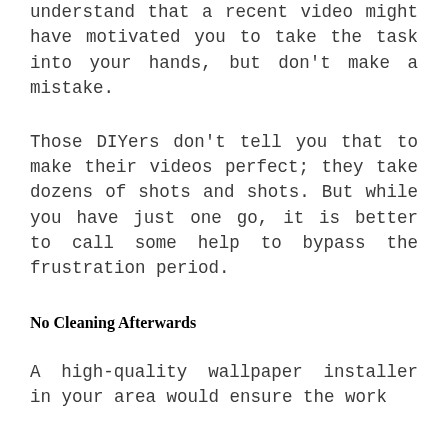understand that a recent video might have motivated you to take the task into your hands, but don't make a mistake.
Those DIYers don't tell you that to make their videos perfect; they take dozens of shots and shots. But while you have just one go, it is better to call some help to bypass the frustration period.
No Cleaning Afterwards
A high-quality wallpaper installer in your area would ensure the work